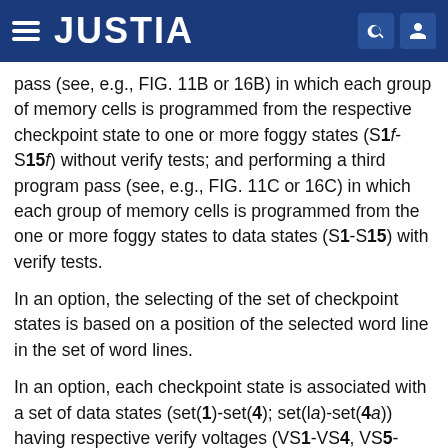JUSTIA
pass (see, e.g., FIG. 11B or 16B) in which each group of memory cells is programmed from the respective checkpoint state to one or more foggy states (S1f-S15f) without verify tests; and performing a third program pass (see, e.g., FIG. 11C or 16C) in which each group of memory cells is programmed from the one or more foggy states to data states (S1-S15) with verify tests.
In an option, the selecting of the set of checkpoint states is based on a position of the selected word line in the set of word lines.
In an option, each checkpoint state is associated with a set of data states (set(1)-set(4); set(1a)-set(4a)) having respective verify voltages (VS1-VS4, VS5-VS7, VS8-VS10, VS11-VS15 for set(1)-set(4), respectively; VS1a-VS5a, VS6a-VS9a, VS10a-VS12a, VS13a-VS15a for set(1a)-set(4a),